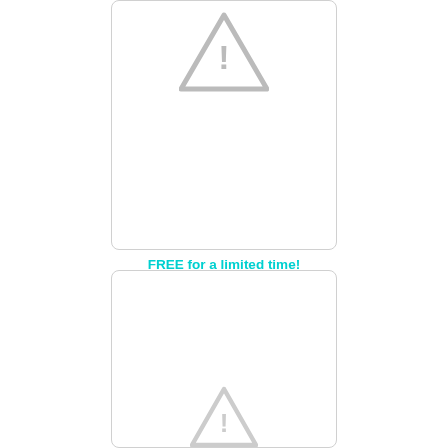[Figure (illustration): Rounded rectangle card with a gray warning triangle exclamation icon, partially cropped at top]
FREE for a limited time!
AMAZON US / UK / CA / AU
Always free in Kindle Unlimited
[Figure (illustration): Rounded rectangle card with a gray warning triangle exclamation icon, partially cropped at bottom]